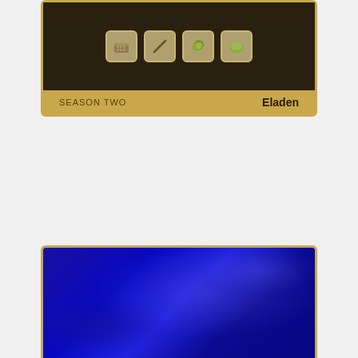[Figure (screenshot): Top card showing Season Two / Eladen with icons on dark background and gold border]
SEASON TWO
Eladen
[Figure (screenshot): Bottom card showing blue flag, EPIC label, nation info for The Benevolent Dictatorship of The United Capital of Adam]
EPIC
The Benevolent Dictatorship of
The United Capital of Adam
INOFFENSIVE CENTRIST DEMOCRACY
“Under one, for all”
14.467 billion Bastards. Multi-spousal wedding ceremonies, irreverence towards religion, and devotion to social welfare.